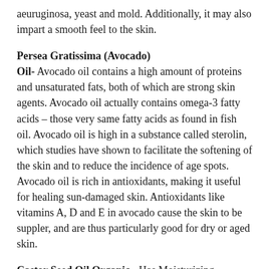aeuruginosa, yeast and mold. Additionally, it may also impart a smooth feel to the skin.
Persea Gratissima (Avocado)
Oil- Avocado oil contains a high amount of proteins and unsaturated fats, both of which are strong skin agents. Avocado oil actually contains omega-3 fatty acids – those very same fatty acids as found in fish oil. Avocado oil is high in a substance called sterolin, which studies have shown to facilitate the softening of the skin and to reduce the incidence of age spots. Avocado oil is rich in antioxidants, making it useful for healing sun-damaged skin. Antioxidants like vitamins A, D and E in avocado cause the skin to be suppler, and are thus particularly good for dry or aged skin.
Castor Seed Oil Organic  - Has Moisturizing, Antiaging, Antioxidant Properties, Protect the Skin, Anti-